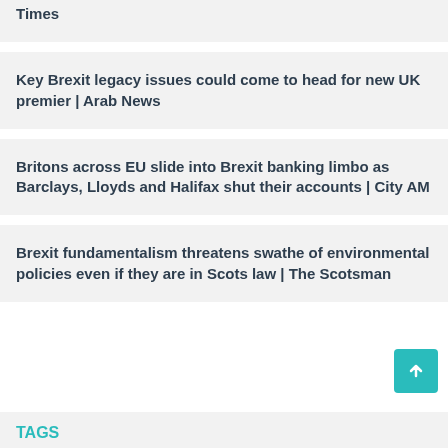Times
Key Brexit legacy issues could come to head for new UK premier | Arab News
Britons across EU slide into Brexit banking limbo as Barclays, Lloyds and Halifax shut their accounts | City AM
Brexit fundamentalism threatens swathe of environmental policies even if they are in Scots law | The Scotsman
TAGS